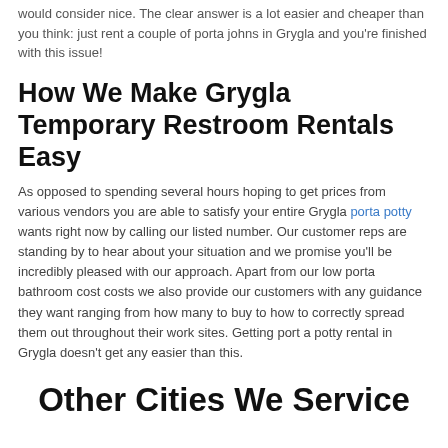would consider nice. The clear answer is a lot easier and cheaper than you think: just rent a couple of porta johns in Grygla and you're finished with this issue!
How We Make Grygla Temporary Restroom Rentals Easy
As opposed to spending several hours hoping to get prices from various vendors you are able to satisfy your entire Grygla porta potty wants right now by calling our listed number. Our customer reps are standing by to hear about your situation and we promise you'll be incredibly pleased with our approach. Apart from our low porta bathroom cost costs we also provide our customers with any guidance they want ranging from how many to buy to how to correctly spread them out throughout their work sites. Getting port a potty rental in Grygla doesn't get any easier than this.
Other Cities We Service